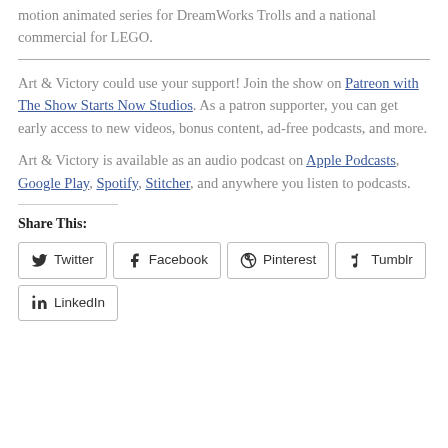motion animated series for DreamWorks Trolls and a national commercial for LEGO.
Art & Victory could use your support! Join the show on Patreon with The Show Starts Now Studios. As a patron supporter, you can get early access to new videos, bonus content, ad-free podcasts, and more.
Art & Victory is available as an audio podcast on Apple Podcasts, Google Play, Spotify, Stitcher, and anywhere you listen to podcasts.
Share This:
Twitter  Facebook  Pinterest  Tumblr  LinkedIn